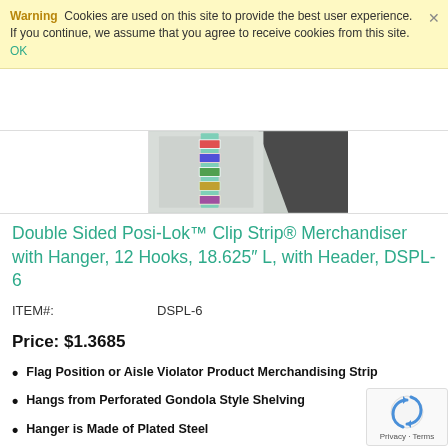Warning Cookies are used on this site to provide the best user experience. If you continue, we assume that you agree to receive cookies from this site. OK
[Figure (photo): Product photo of Double Sided Posi-Lok Clip Strip Merchandiser hanging display with multiple pockets of merchandise, shown against a wall]
Double Sided Posi-Lok™ Clip Strip® Merchandiser with Hanger, 12 Hooks, 18.625" L, with Header, DSPL-6
ITEM#: DSPL-6
Price: $1.3685
Flag Position or Aisle Violator Product Merchandising Strip
Hangs from Perforated Gondola Style Shelving
Hanger is Made of Plated Steel
Availability: In stock
Quantity: